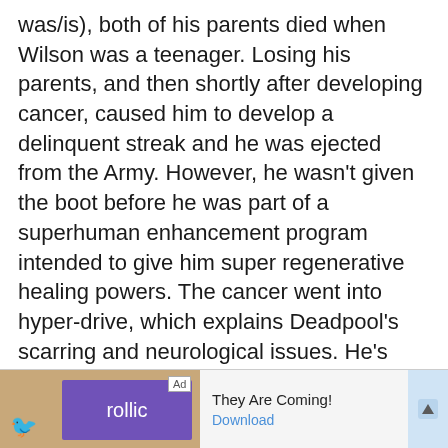was/is), both of his parents died when Wilson was a teenager. Losing his parents, and then shortly after developing cancer, caused him to develop a delinquent streak and he was ejected from the Army. However, he wasn't given the boot before he was part of a superhuman enhancement program intended to give him super regenerative healing powers. The cancer went into hyper-drive, which explains Deadpool's scarring and neurological issues. He's constantly mutating.
[Figure (other): Advertisement banner at the bottom of the page. Shows 'Ad' label, a game icon with a bird character, a purple 'follic' logo, text 'They Are Coming!' and a blue 'Download' link, with a scroll-up arrow on the right.]